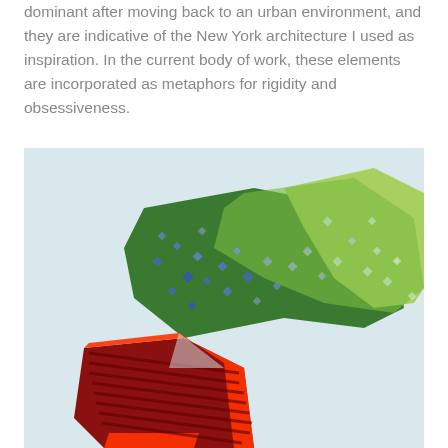dominant after moving back to an urban environment, and they are indicative of the New York architecture I used as inspiration. In the current body of work, these elements are incorporated as metaphors for rigidity and obsessiveness.
[Figure (photo): A sculptural artwork photographed against a pale blue-grey background. It consists of geometric panel shapes: a large green panel with scattered blue diamond/star shapes transitioning from dark green on the left to lighter yellow-green on the right, and below-left a dark red/maroon chevron-striped panel outlined in bright orange-red. The overall form is angular and irregular, resembling an abstract architectural or origami-like composition.]